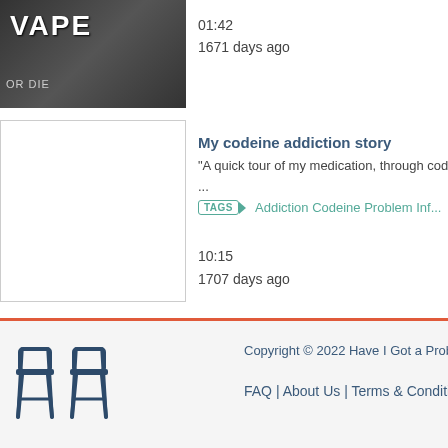[Figure (screenshot): Video thumbnail with dark background showing 'VAPE' text and 'OR DIE' text overlay]
01:42
1671 days ago
My codeine addiction story
"A quick tour of my medication, through codeine a...
...
TAGS  Addiction Codeine Problem Inf...
10:15
1707 days ago
[Figure (illustration): Two chairs logo icon in dark navy blue]
Copyright © 2022 Have I Got a Problem All Rights Re...
FAQ | About Us | Terms & Conditions | Privacy Policy